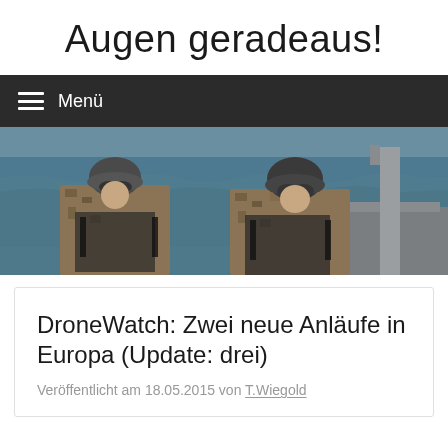Augen geradeaus!
Menü
[Figure (photo): Two soldiers in camouflage uniforms and helmets with goggles on a boat at sea]
DroneWatch: Zwei neue Anläufe in Europa (Update: drei)
Veröffentlicht am 18.05.2015 von T.Wiegold